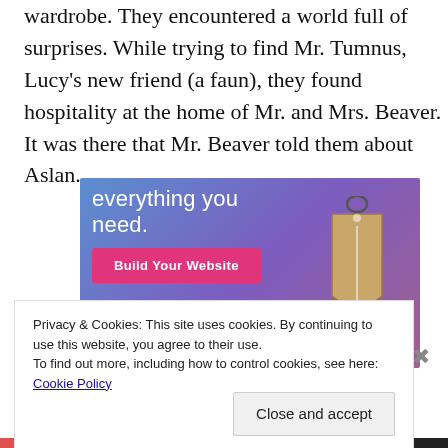wardrobe. They encountered a world full of surprises. While trying to find Mr. Tumnus, Lucy's new friend (a faun), they found hospitality at the home of Mr. and Mrs. Beaver. It was there that Mr. Beaver told them about Aslan.
[Figure (screenshot): Advertisement banner with blue-to-purple gradient background, white text reading 'everything you need.', a pink 'Build Your Website' button, and a luggage tag graphic on the right.]
Privacy & Cookies: This site uses cookies. By continuing to use this website, you agree to their use.
To find out more, including how to control cookies, see here: Cookie Policy
Close and accept